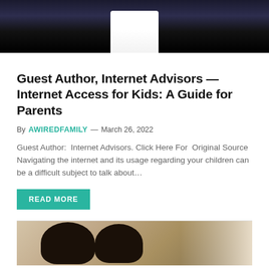[Figure (photo): Dark/black background photo showing a partial figure in white shirt, viewed from below waist]
Guest Author, Internet Advisors — Internet Access for Kids: A Guide for Parents
By AWIREDFAMILY — March 26, 2022
Guest Author:  Internet Advisors. Click Here For  Original Source Navigating the internet and its usage regarding your children can be a difficult subject to talk about…
READ MORE
[Figure (photo): Children looking down at a device, multiple heads with dark hair visible, light background on right side]